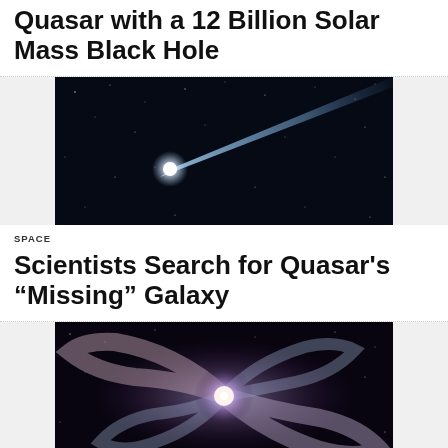Quasar with a 12 Billion Solar Mass Black Hole
[Figure (photo): Illustration of a quasar with a bright point of light and a blue jet extending diagonally across a starfield background]
SPACE
Scientists Search for Quasar's “Missing” Galaxy
[Figure (photo): Illustration of a spiral galaxy with dramatic swirling arms and bright center against a dark background]
SPACE
NASA’s New $10 Billion Telescope to Study